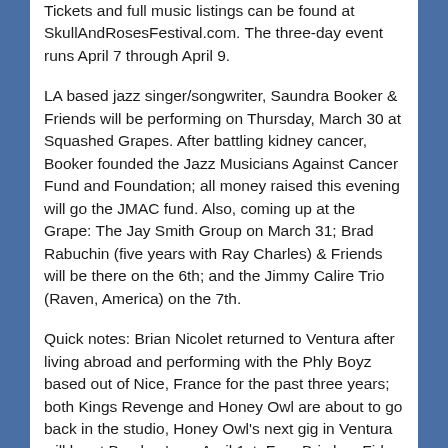Tickets and full music listings can be found at SkullAndRosesFestival.com. The three-day event runs April 7 through April 9.
LA based jazz singer/songwriter, Saundra Booker & Friends will be performing on Thursday, March 30 at Squashed Grapes. After battling kidney cancer, Booker founded the Jazz Musicians Against Cancer Fund and Foundation; all money raised this evening will go the JMAC fund. Also, coming up at the Grape: The Jay Smith Group on March 31; Brad Rabuchin (five years with Ray Charles) & Friends will be there on the 6th; and the Jimmy Calire Trio (Raven, America) on the 7th.
Quick notes: Brian Nicolet returned to Ventura after living abroad and performing with the Phly Boyz based out of Nice, France for the past three years; both Kings Revenge and Honey Owl are about to go back in the studio, Honey Owl's next gig in Ventura will be at Bombay's on April 1st; Four Brix has Fido playing 5:30 – 7:30 on Friday, March 31 for Teacher's Appreciation Night; and Champagne on Main returns to Ventura with DJs and local artists like Joe